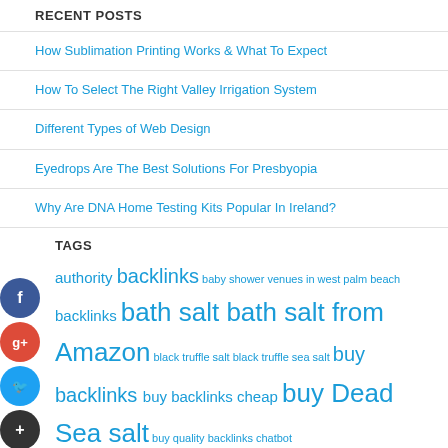Recent Posts
How Sublimation Printing Works & What To Expect
How To Select The Right Valley Irrigation System
Different Types of Web Design
Eyedrops Are The Best Solutions For Presbyopia
Why Are DNA Home Testing Kits Popular In Ireland?
Tags
authority backlinks baby shower venues in west palm beach backlinks bath salt bath salt from Amazon black truffle salt black truffle sea salt buy backlinks buy backlinks cheap buy Dead Sea salt buy quality backlinks chatbot Chatbot Messenger Dead Sea salt Dead Sea salt from Amazon dentist digital